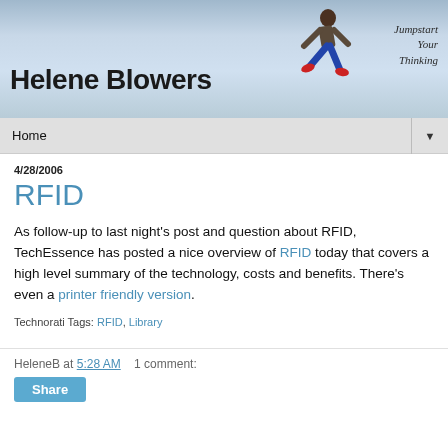[Figure (illustration): Blog header banner for 'Helene Blowers' with blue sky background, jumping person silhouette, and italic tagline 'Jumpstart Your Thinking']
Home ▼
4/28/2006
RFID
As follow-up to last night's post and question about RFID, TechEssence has posted a nice overview of RFID today that covers a high level summary of the technology, costs and benefits. There's even a printer friendly version.
Technorati Tags: RFID, Library
HeleneB at 5:28 AM   1 comment:   Share